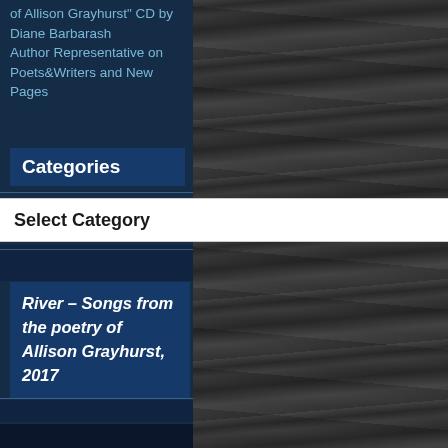of Allison Grayhurst" CD by Diane Barbarash
Author Representative on Poets&Writers and New Pages
Categories
Select Category
River – Songs from the poetry of Allison Grayhurst, 2017
[Figure (photo): Black and white textured bark photograph filling the right portion of the page]
[Figure (photo): Partial portrait photo at bottom left, person with dark hair]